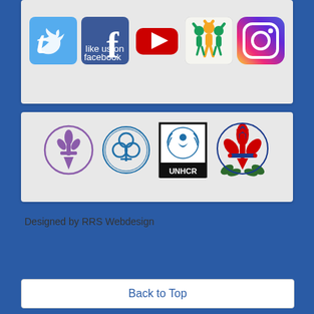[Figure (logo): Social media icons: Twitter, Facebook, YouTube, Kidlink, Instagram]
[Figure (logo): Organization logos: WOSM Scout fleur-de-lis, WAGGGS trefoil, UNHCR logo, Scouts France fleur-de-lis]
Designed by RRS Webdesign
Back to Top